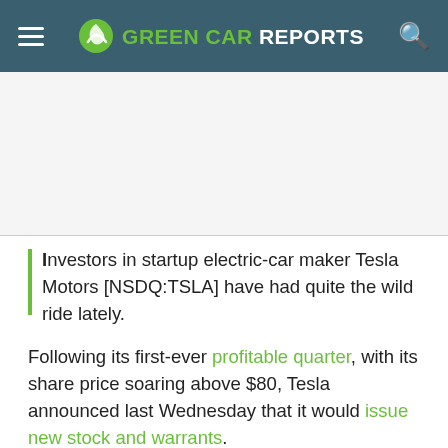GREEN CAR REPORTS
[Figure (other): Advertisement placeholder area]
Investors in startup electric-car maker Tesla Motors [NSDQ:TSLA] have had quite the wild ride lately.

Following its first-ever profitable quarter, with its share price soaring above $80, Tesla announced last Wednesday that it would issue new stock and warrants.

Now, Tesla has quietly increased its offering, which could raise the